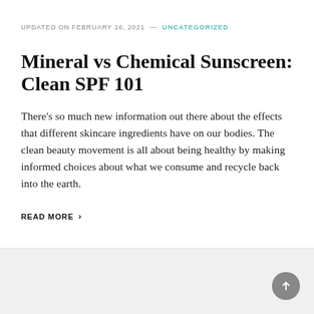UPDATED ON FEBRUARY 16, 2021 — UNCATEGORIZED
Mineral vs Chemical Sunscreen: Clean SPF 101
There's so much new information out there about the effects that different skincare ingredients have on our bodies. The clean beauty movement is all about being healthy by making informed choices about what we consume and recycle back into the earth.
READ MORE ›